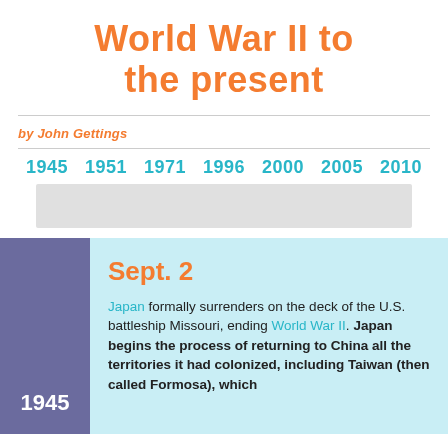World War II to the present
by John Gettings
[Figure (infographic): Timeline navigation bar with years: 1945, 1951, 1971, 1996, 2000, 2005, 2010 and a grey horizontal bar below]
Sept. 2 — Japan formally surrenders on the deck of the U.S. battleship Missouri, ending World War II. Japan begins the process of returning to China all the territories it had colonized, including Taiwan (then called Formosa), which
1945